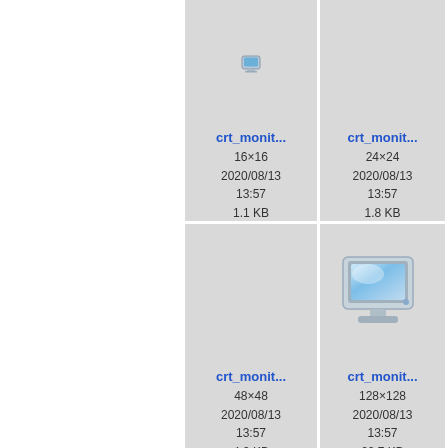[Figure (screenshot): File browser thumbnail view showing icon files for crt_monitor in various sizes. Top row: crt_monit... 16x16 2020/08/13 13:57 1.1 KB; crt_monit... 24x24 2020/08/13 13:57 1.8 KB; partial third entry. Bottom row: crt_monit... 48x48 2020/08/13 13:57 4.9 KB; crt_monit... 128x128 2020/08/13 13:57 20.7 KB; partial third entry.]